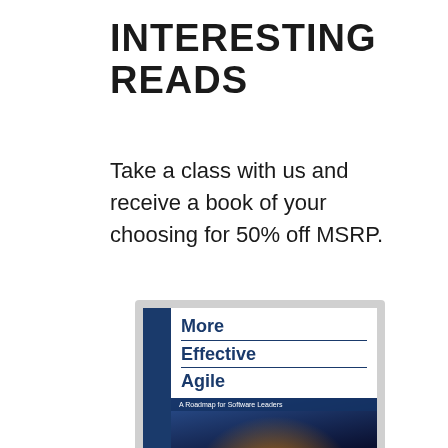INTERESTING READS
Take a class with us and receive a book of your choosing for 50% off MSRP.
[Figure (illustration): Book cover of 'More Effective Agile: A Roadmap for Software Leaders' by Steve McConnell, Author of Code Complete. The cover features bold blue title text on white background with a dark blue spine, and an image of a road with light streaks/motion blur.]